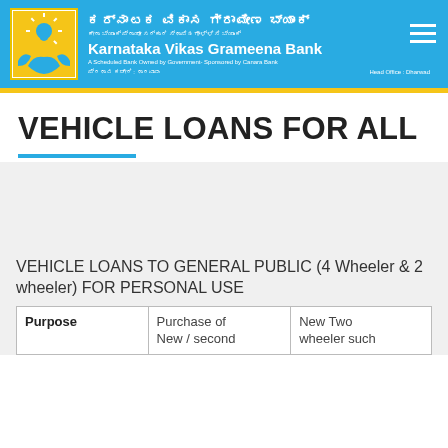[Figure (logo): Karnataka Vikas Grameena Bank logo with Kannada text header, blue background, and hamburger menu icon]
VEHICLE LOANS FOR ALL
VEHICLE LOANS TO GENERAL PUBLIC (4 Wheeler & 2 wheeler) FOR PERSONAL USE
| Purpose | Purchase of New / second | New Two wheeler such |
| --- | --- | --- |
| Purpose | Purchase of
New / second | New Two
wheeler such |